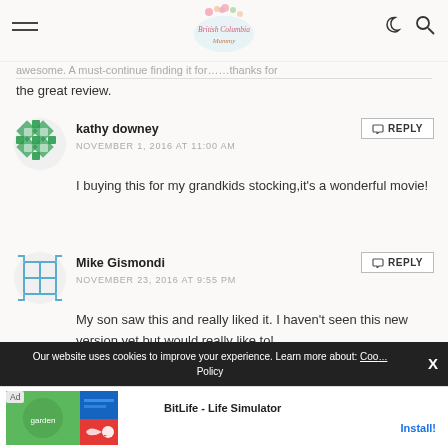British Columbia Mummy blog header with hamburger menu and search/moon icons
...awesome. A must-continue finding it for... thanks for the great review.
kathy downey
NOVEMBER 1, 2016 AT 11:00 AM
I buying this for my grandkids stocking,it's a wonderful movie!
Mike Gismondi
NOVEMBER 23, 2016 AT 9:55 PM
My son saw this and really liked it. I haven't seen this new version yet but would really like to!
Our website uses cookies to improve your experience. Learn more about: Cookie Policy
[Figure (advertisement): BitLife - Life Simulator app advertisement with Install button]